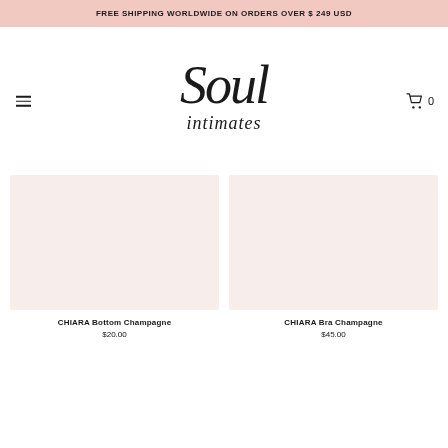FREE SHIPPING WORLDWIDE ON ORDERS OVER $ 249 USD
[Figure (logo): Soul intimates cursive script logo]
CHIARA Bottom Champagne $20.00
CHIARA Bra Champagne $45.00